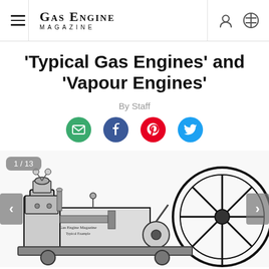Gas Engine Magazine
'Typical Gas Engines' and 'Vapour Engines'
By Staff
[Figure (infographic): Social sharing icons: Email (green), Facebook (blue), Pinterest (red), Twitter (blue)]
[Figure (illustration): Black and white illustration of an antique gas engine with large flywheel, showing mechanical components. Slideshow counter shows 1/13 with left and right navigation arrows.]